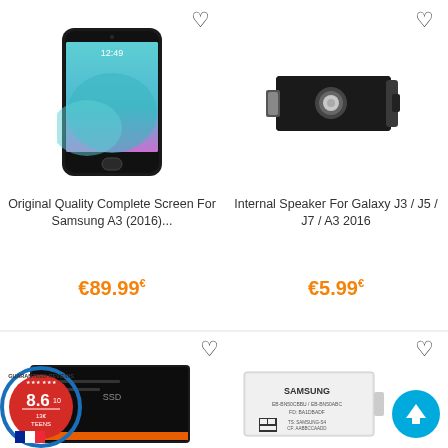[Figure (photo): Samsung A3 2016 smartphone product photo]
[Figure (photo): Internal speaker module for Samsung Galaxy J3/J5/J7/A3 2016]
Original Quality Complete Screen For Samsung A3 (2016)...
€89.99€
Internal Speaker For Galaxy J3 / J5 / J7 / A3 2016
€5.99€
[Figure (photo): Dark product (SSD or tablet) shown in bottom-left cell]
[Figure (photo): Samsung battery shown in bottom-right cell]
[Figure (logo): Guaranteed Reviews Company badge showing 8.6/10, 13€, TEENS]
[Figure (other): Blue circular scroll-to-top arrow button]